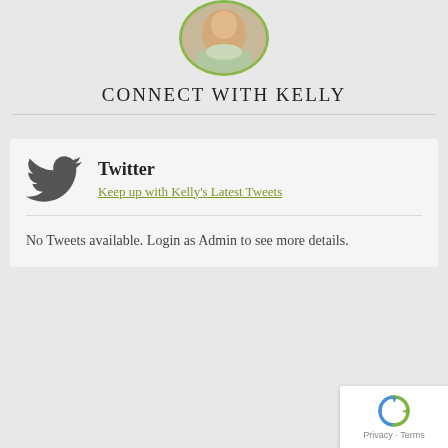[Figure (photo): Circular avatar photo of Kelly with green border, showing upper body in light-colored clothing, cropped at top]
CONNECT WITH KELLY
[Figure (illustration): Twitter card with Twitter bird logo icon, heading 'Twitter', link 'Keep up with Kelly's Latest Tweets', divider, and text 'No Tweets available. Login as Admin to see more details.']
[Figure (logo): reCAPTCHA badge with spinning arrows icon and 'Privacy · Terms' text]